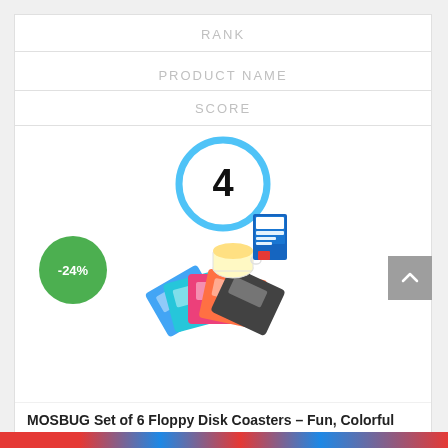RANK
PRODUCT NAME
SCORE
[Figure (infographic): A circular rank badge with the number 4 in the center, outlined in blue. Below it is a product image of floppy disk coasters with a mug and a small box. A green circle badge showing -24% discount is on the left. A grey scroll-to-top button is on the right edge.]
MOSBUG Set of 6 Floppy Disk Coasters – Fun, Colorful